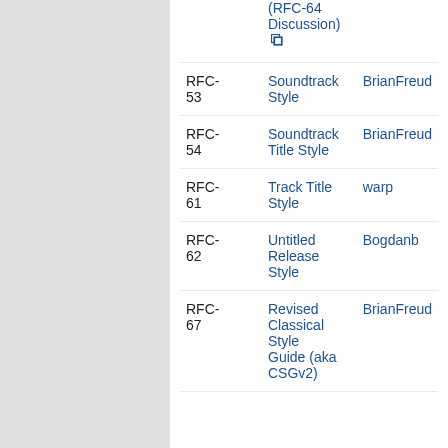| RFC | Title | Author |
| --- | --- | --- |
|  | (RFC-64 Discussion) [link] |  |
| RFC-53 | Soundtrack Style | BrianFreud |
| RFC-54 | Soundtrack Title Style | BrianFreud |
| RFC-61 | Track Title Style | warp |
| RFC-62 | Untitled Release Style | Bogdanb |
| RFC-67 | Revised Classical Style Guide (aka CSGv2) | BrianFreud |